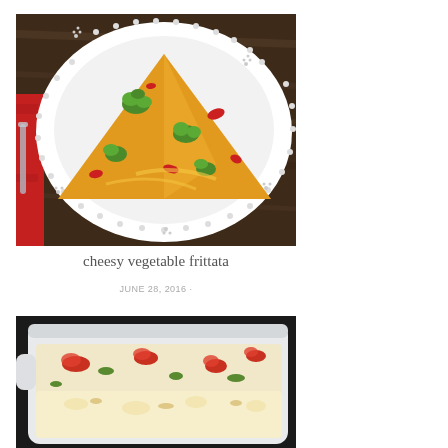[Figure (photo): Overhead photo of a slice of cheesy vegetable frittata on a white decorative lacy plate set on a dark wood surface with a red cloth]
cheesy vegetable frittata
JUNE 28, 2016 ·
[Figure (photo): Photo of a casserole dish with a baked egg dish topped with tomatoes, cheese and vegetables, partially cropped at bottom of page]